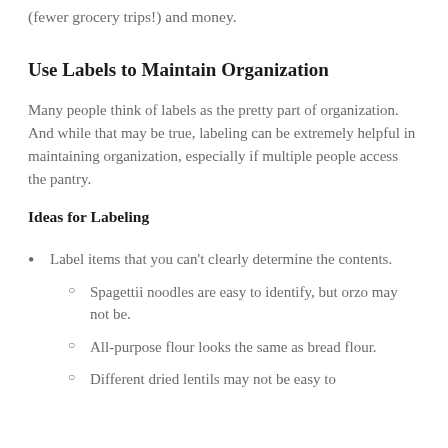(fewer grocery trips!) and money.
Use Labels to Maintain Organization
Many people think of labels as the pretty part of organization. And while that may be true, labeling can be extremely helpful in maintaining organization, especially if multiple people access the pantry.
Ideas for Labeling
Label items that you can't clearly determine the contents.
Spagettii noodles are easy to identify, but orzo may not be.
All-purpose flour looks the same as bread flour.
Different dried lentils may not be easy to